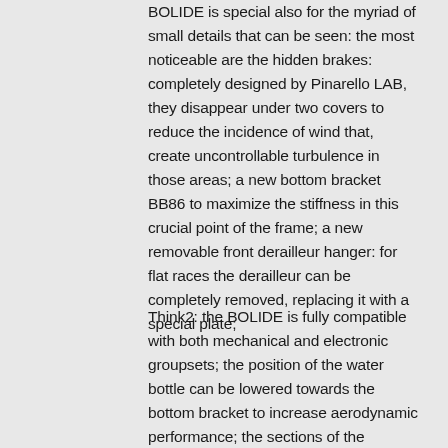BOLIDE is special also for the myriad of small details that can be seen: the most noticeable are the hidden brakes: completely designed by Pinarello LAB, they disappear under two covers to reduce the incidence of wind that, create uncontrollable turbulence in those areas; a new bottom bracket BB86 to maximize the stiffness in this crucial point of the frame; a new removable front derailleur hanger: for flat races the derailleur can be completely removed, replacing it with a special plate;
Think2: the BOLIDE is fully compatible with both mechanical and electronic groupsets; the position of the water bottle can be lowered towards the bottom bracket to increase aerodynamic performance; the sections of the